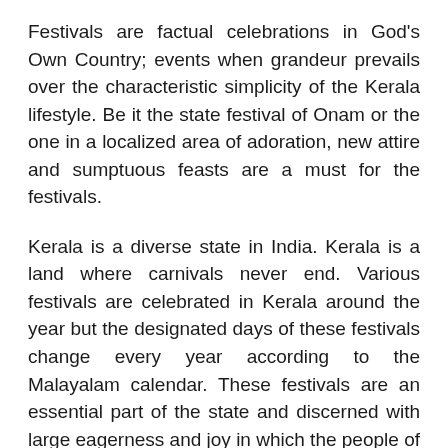Festivals are factual celebrations in God's Own Country; events when grandeur prevails over the characteristic simplicity of the Kerala lifestyle. Be it the state festival of Onam or the one in a localized area of adoration, new attire and sumptuous feasts are a must for the festivals.
Kerala is a diverse state in India. Kerala is a land where carnivals never end. Various festivals are celebrated in Kerala around the year but the designated days of these festivals change every year according to the Malayalam calendar. These festivals are an essential part of the state and discerned with large eagerness and joy in which the people of all caste and religion participate. Today, these festivals are perhaps the only event when the classical, folk and ceremonial creative pursuits of